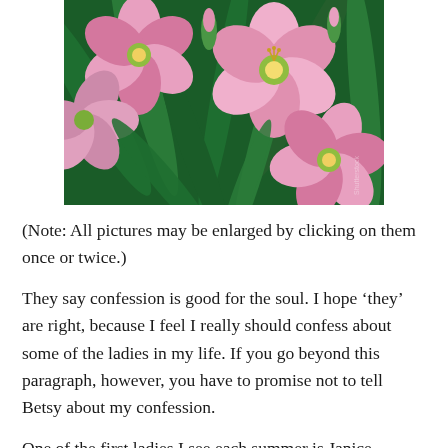[Figure (photo): Close-up photograph of pink daylily flowers with green leaves/stems in the background. Multiple blooms visible with yellow-green centers and pink petals with deeper pink edges.]
(Note:  All pictures may be enlarged by clicking on them once or twice.)
They say confession is good for the soul.  I hope ‘they’ are right, because I feel I really should confess about some of the ladies in my life.  If you go beyond this paragraph, however, you have to promise not to tell Betsy about my confession.
One of the first ladies I see each summer is Janice